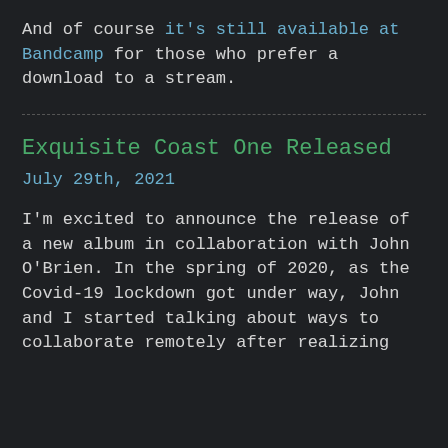And of course it's still available at Bandcamp for those who prefer a download to a stream.
Exquisite Coast One Released
July 29th, 2021
I'm excited to announce the release of a new album in collaboration with John O'Brien. In the spring of 2020, as the Covid-19 lockdown got under way, John and I started talking about ways to collaborate remotely after realizing